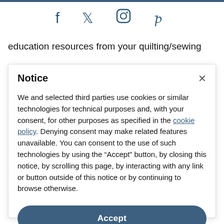[Figure (other): Social media icons: Facebook, Twitter, Instagram, Pinterest]
education resources from your quilting/sewing
Notice
We and selected third parties use cookies or similar technologies for technical purposes and, with your consent, for other purposes as specified in the cookie policy. Denying consent may make related features unavailable. You can consent to the use of such technologies by using the “Accept” button, by closing this notice, by scrolling this page, by interacting with any link or button outside of this notice or by continuing to browse otherwise.
Accept
Learn more and customize